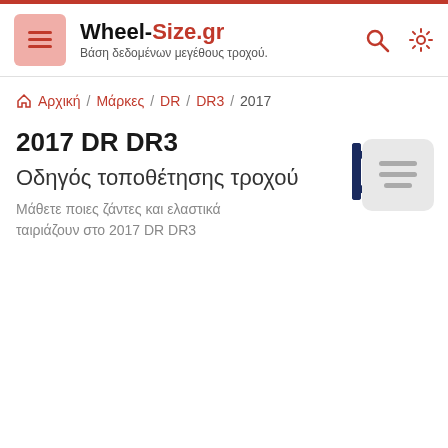Wheel-Size.gr — Βάση δεδομένων μεγέθους τροχού.
Αρχική / Μάρκες / DR / DR3 / 2017
2017 DR DR3
Οδηγός τοποθέτησης τροχού
Μάθετε ποιες ζάντες και ελαστικά ταιριάζουν στο 2017 DR DR3
[Figure (logo): DR brand logo — stylized 'd' and 'r' letters in dark navy blue]